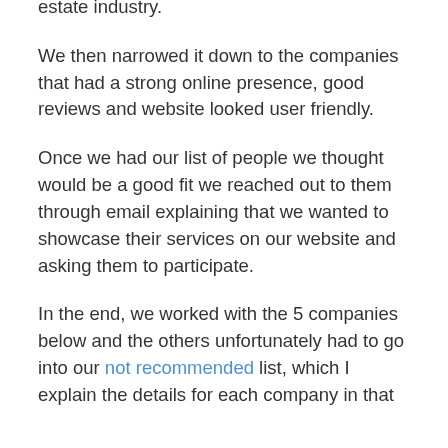estate industry.
We then narrowed it down to the companies that had a strong online presence, good reviews and website looked user friendly.
Once we had our list of people we thought would be a good fit we reached out to them through email explaining that we wanted to showcase their services on our website and asking them to participate.
In the end, we worked with the 5 companies below and the others unfortunately had to go into our not recommended list, which I explain the details for each company in that